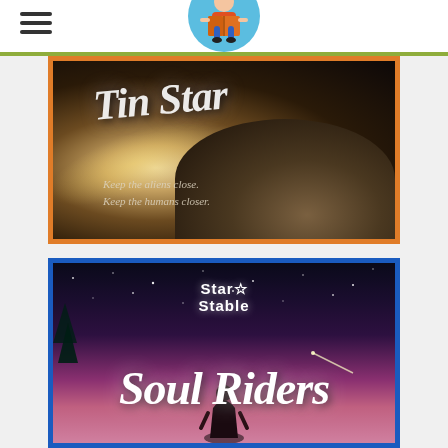Navigation header with hamburger menu and reading logo
[Figure (illustration): Book cover for 'Tin Star' — dark space/sci-fi themed cover with stylized italic title text, planet surface and glowing light, tagline: 'Keep the aliens close. Keep the humans closer.' Orange border frame.]
[Figure (illustration): Book cover for 'Soul Riders' by Star Stable — night sky with stars and purple/pink gradient, Star Stable logo at top, large italic 'Soul Riders' title, silhouette of figure at bottom. Blue border frame.]